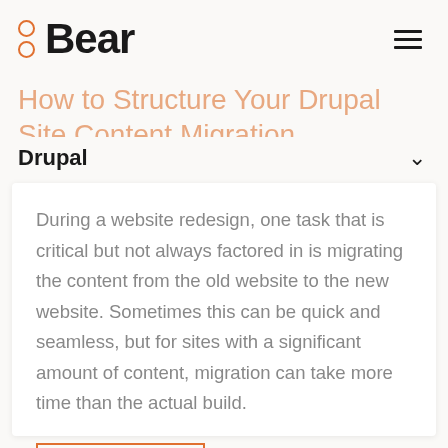Bear
How to Structure Your Drupal Site Content Migration
Drupal
During a website redesign, one task that is critical but not always factored in is migrating the content from the old website to the new website. Sometimes this can be quick and seamless, but for sites with a significant amount of content, migration can take more time than the actual build.
READ MORE